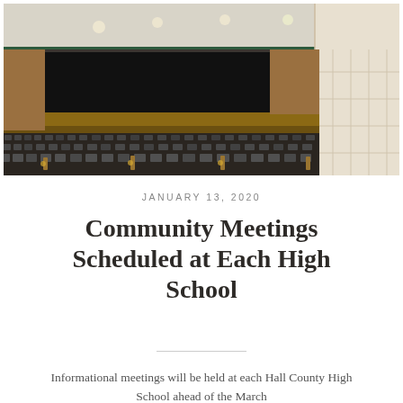[Figure (photo): Interior of a high school auditorium with rows of dark gray seats, a stage with a large black screen/curtain backdrop, wooden accents on walls, and overhead lighting with a green-accented ceiling beam.]
JANUARY 13, 2020
Community Meetings Scheduled at Each High School
Informational meetings will be held at each Hall County High School ahead of the March